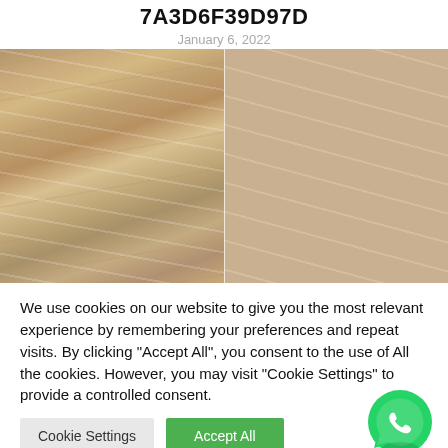7A3D6F39D97D
January 6, 2022
[Figure (photo): Before and after side-by-side photo of blonde highlighted wavy hair, showing two views of a woman's shoulder-length styled hair]
We use cookies on our website to give you the most relevant experience by remembering your preferences and repeat visits. By clicking “Accept All”, you consent to the use of All the cookies. However, you may visit “Cookie Settings” to provide a controlled consent.